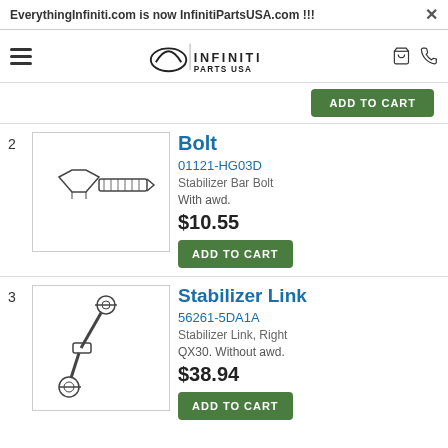EverythingInfiniti.com is now InfinitiPartsUSA.com !!!
[Figure (logo): Infiniti Parts USA logo with Infiniti symbol and text]
ADD TO CART
Bolt
01121-HG03D
Stabilizer Bar Bolt
With awd.
$10.55
[Figure (illustration): Line drawing of a bolt]
ADD TO CART
Stabilizer Link
56261-5DA1A
Stabilizer Link, Right
QX30. Without awd.
$38.94
[Figure (illustration): Line drawing of a stabilizer link]
ADD TO CART